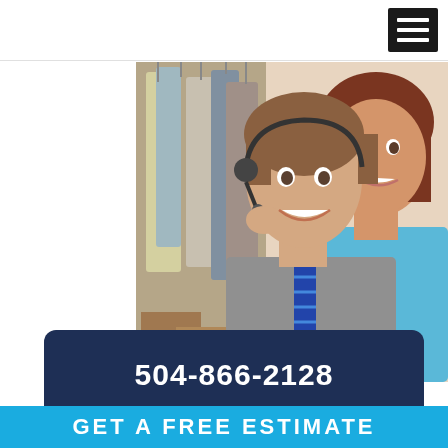[Figure (photo): Navigation bar with hamburger menu icon (three white lines on black background) at top right]
[Figure (photo): Photo of a smiling man wearing a headset and business shirt with blue tie, and a woman in a light blue top smiling, standing in front of a clothing rack]
504-866-2128
GET A FREE ESTIMATE